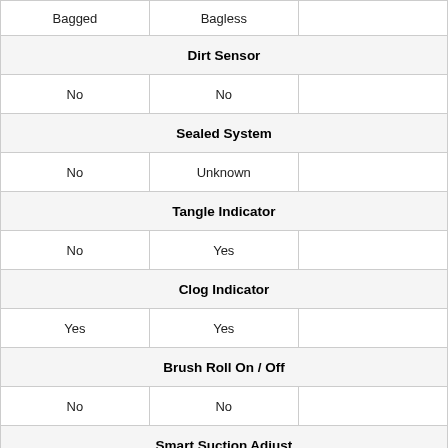| Bagged | Bagless |  |
| --- | --- | --- |
| Dirt Sensor |  |  |
| No | No |  |
| Sealed System |  |  |
| No | Unknown |  |
| Tangle Indicator |  |  |
| No | Yes |  |
| Clog Indicator |  |  |
| Yes | Yes |  |
| Brush Roll On / Off |  |  |
| No | No |  |
| Smart Suction Adjust |  |  |
| No | No |  |